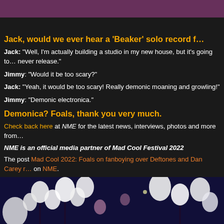[Figure (photo): Top portion of an image with purple/pink gradient, partially cropped]
Jack, would we ever hear a ‘Beaker’ solo record f…
Jack: “Well, I’m actually building a studio in my new house, but it’s going to… never release.”
Jimmy: “Would it be too scary?”
Jack: “Yeah, it would be too scary! Really demonic moaning and growling!”
Jimmy: “Demonic electronica.”
Demonica? Foals, thank you very much.
Check back here at NME for the latest news, interviews, photos and more from…
NME is an official media partner of Mad Cool Festival 2022
The post Mad Cool 2022: Foals on fanboying over Deftones and Dan Carey r… on NME.
[Figure (photo): Dark floral image with white flowers on dark purple/navy background]